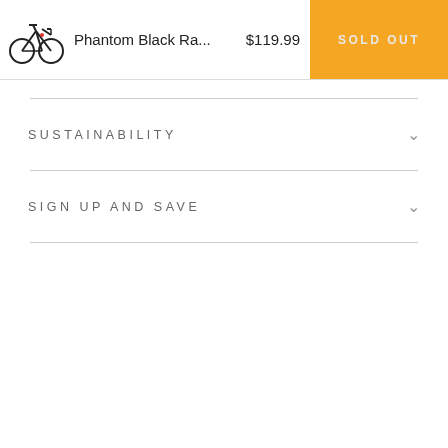Phantom Black Ra... $119.99 SOLD OUT
SUSTAINABILITY
SIGN UP AND SAVE